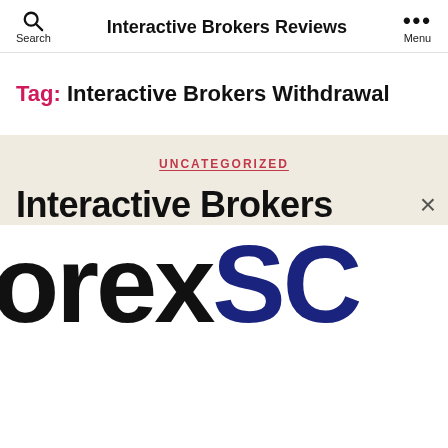Interactive Brokers Reviews
Tag: Interactive Brokers Withdrawal
UNCATEGORIZED
Interactive Brokers
[Figure (logo): Partial ForexSC logo in large black and dark blue bold letters, cropped at right edge]